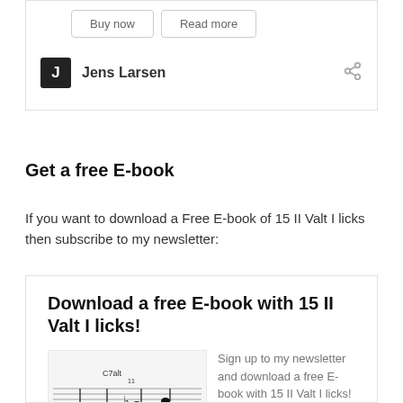Buy now
Read more
Jens Larsen
Get a free E-book
If you want to download a Free E-book of 15 II Valt I licks then subscribe to my newsletter:
Download a free E-book with 15 II Valt I licks!
[Figure (illustration): Music score notation showing a jazz lick with notes labeled C7alt]
Sign up to my newsletter and download a free E-book with 15 II Valt I licks!